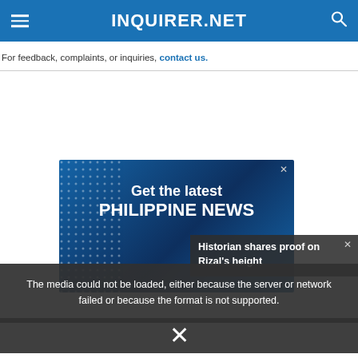INQUIRER.NET
For feedback, complaints, or inquiries, contact us.
[Figure (infographic): Blue advertisement banner: 'Get the latest PHILIPPINE NEWS' with dot pattern and device mockup at bottom]
The media could not be loaded, either because the server or network failed or because the format is not supported.
Historian shares proof on Rizal's height